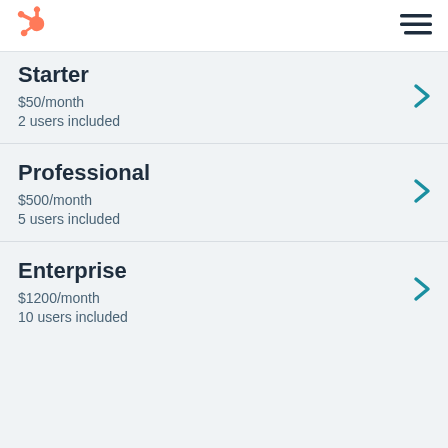HubSpot logo and navigation menu
Starter
$50/month
2 users included
Professional
$500/month
5 users included
Enterprise
$1200/month
10 users included